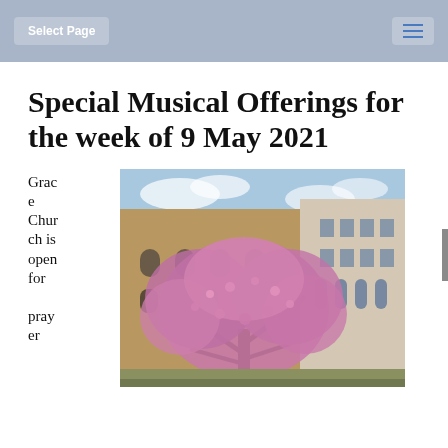Select Page
Special Musical Offerings for the week of 9 May 2021
Grace Church is open for prayer
[Figure (photo): A blooming pink/purple flowering tree in spring in front of a large stone church building with Gothic architecture and urban buildings in the background under a blue sky with clouds.]